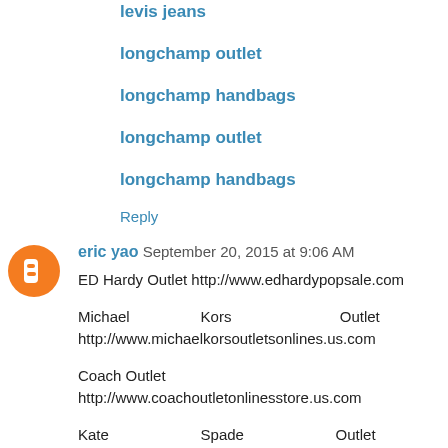levis jeans
longchamp outlet
longchamp handbags
longchamp outlet
longchamp handbags
Reply
eric yao  September 20, 2015 at 9:06 AM
ED Hardy Outlet http://www.edhardypopsale.com

Michael Kors Outlet http://www.michaelkorsoutletsonlines.us.com

Coach Outlet http://www.coachoutletonlinesstore.us.com

Kate Spade Outlet